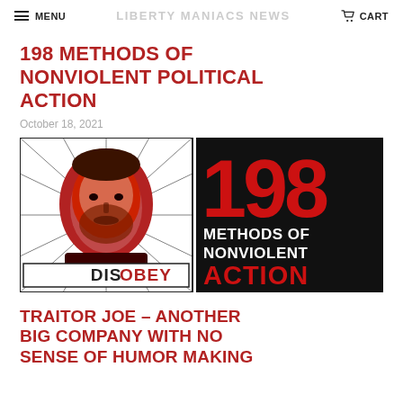MENU  LIBERTY MANIACS NEWS  CART
198 METHODS OF NONVIOLENT POLITICAL ACTION
October 18, 2021
[Figure (illustration): Image showing a 'DISOBEY' poster on the left with a bearded man face and radiating lines, and on the right a black background with red and white text reading '198 METHODS OF NONVIOLENT ACTION']
TRAITOR JOE – ANOTHER BIG COMPANY WITH NO SENSE OF HUMOR MAKING